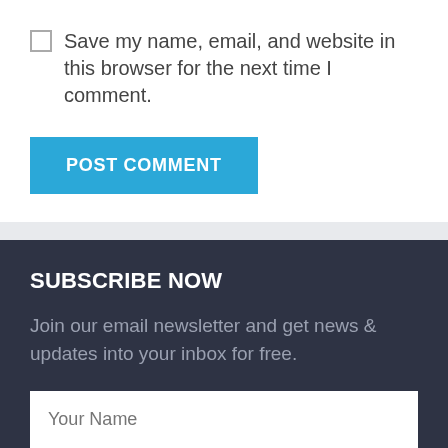Save my name, email, and website in this browser for the next time I comment.
POST COMMENT
SUBSCRIBE NOW
Join our email newsletter and get news & updates into your inbox for free.
Your Name
Your Email
SUBSCRIBE